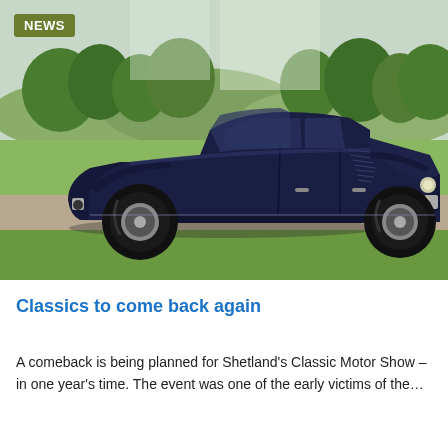[Figure (photo): Side profile of a vintage 1930s dark navy blue classic saloon car parked on a gravel path, with green trees and grass fields in the background under an overcast sky. A 'NEWS' badge is overlaid in the top-left corner of the image.]
Classics to come back again
A comeback is being planned for Shetland's Classic Motor Show – in one year's time. The event was one of the early victims of the...